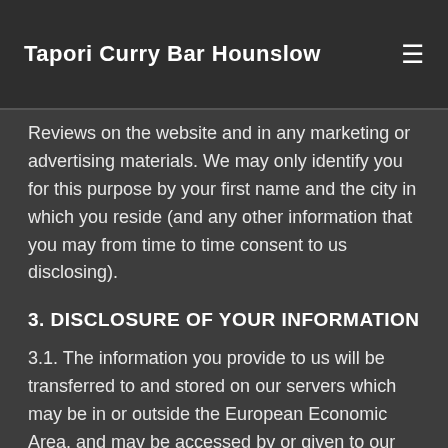Tapori Curry Bar Hounslow
Reviews on the website and in any marketing or advertising materials. We may only identify you for this purpose by your first name and the city in which you reside (and any other information that you may from time to time consent to us disclosing).
3. DISCLOSURE OF YOUR INFORMATION
3.1. The information you provide to us will be transferred to and stored on our servers which may be in or outside the European Economic Area, and may be accessed by or given to our staff working outside the United Kingdom and third parties including companies within the FOODit group of companies (which means our subsidiaries and affiliates, our ultimate holding